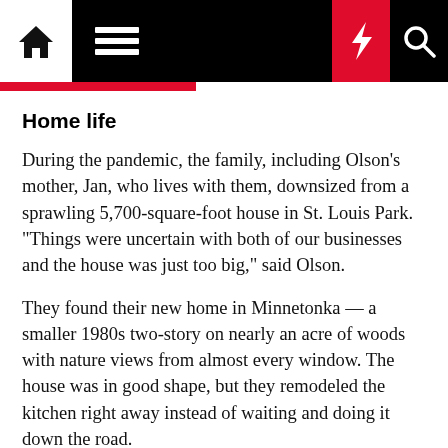Navigation bar with home, menu, moon, bolt, and search icons
Home life
During the pandemic, the family, including Olson's mother, Jan, who lives with them, downsized from a sprawling 5,700-square-foot house in St. Louis Park. "Things were uncertain with both of our businesses and the house was just too big," said Olson.
They found their new home in Minnetonka — a smaller 1980s two-story on nearly an acre of woods with nature views from almost every window. The house was in good shape, but they remodeled the kitchen right away instead of waiting and doing it down the road.
"I wanted a different stove," said Gerken, who waxes about the merits of induction vs. gas, steam and